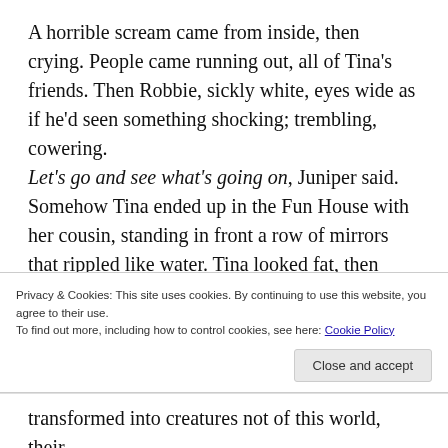A horrible scream came from inside, then crying. People came running out, all of Tina’s friends. Then Robbie, sickly white, eyes wide as if he’d seen something shocking; trembling, cowering.
Let’s go and see what’s going on, Juniper said. Somehow Tina ended up in the Fun House with her cousin, standing in front a row of mirrors that rippled like water. Tina looked fat, then thin; tall, then short. Juniper pulled faces, posing and laughing.
The Hall of Mirrors was fluid. They felt it wouldn’t take much to lose their footing, as if they were
Privacy & Cookies: This site uses cookies. By continuing to use this website, you agree to their use.
To find out more, including how to control cookies, see here: Cookie Policy
transformed into creatures not of this world, their